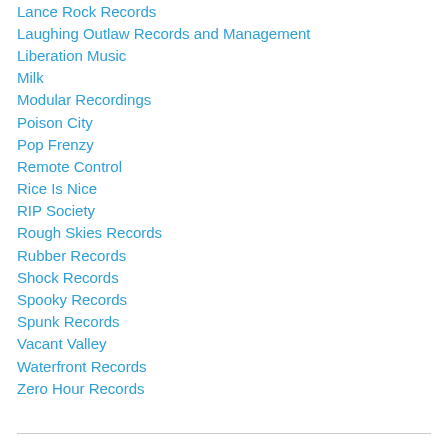Lance Rock Records
Laughing Outlaw Records and Management
Liberation Music
Milk
Modular Recordings
Poison City
Pop Frenzy
Remote Control
Rice Is Nice
RIP Society
Rough Skies Records
Rubber Records
Shock Records
Spooky Records
Spunk Records
Vacant Valley
Waterfront Records
Zero Hour Records